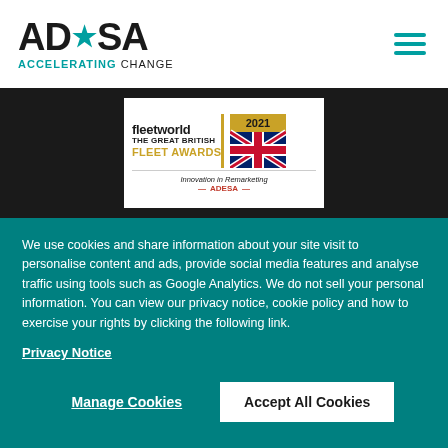[Figure (logo): ADESA logo with star in A, tagline ACCELERATING CHANGE in teal]
[Figure (illustration): Hamburger menu icon with three teal horizontal lines]
[Figure (logo): Fleet World The Great British Fleet Awards 2021 - Innovation in Remarketing ADESA award badge with UK flag graphic]
We use cookies and share information about your site visit to personalise content and ads, provide social media features and analyse traffic using tools such as Google Analytics. We do not sell your personal information. You can view our privacy notice, cookie policy and how to exercise your rights by clicking the following link.
Privacy Notice
Manage Cookies
Accept All Cookies